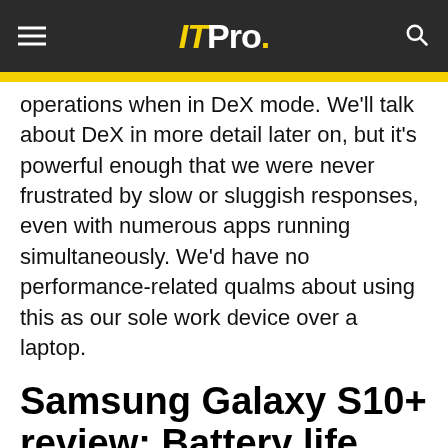IT Pro.
operations when in DeX mode. We'll talk about DeX in more detail later on, but it's powerful enough that we were never frustrated by slow or sluggish responses, even with numerous apps running simultaneously. We'd have no performance-related qualms about using this as our sole work device over a laptop.
Samsung Galaxy S10+ review: Battery life
Performance might be a moot point, but battery life certainly isn't. In fact, it's one of the most important things for us to get right with a phone and...